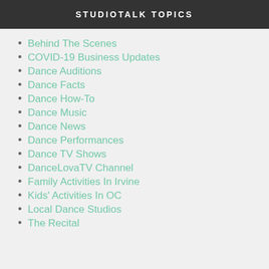STUDIOTALK TOPICS
Behind The Scenes
COVID-19 Business Updates
Dance Auditions
Dance Facts
Dance How-To
Dance Music
Dance News
Dance Performances
Dance TV Shows
DanceLovaTV Channel
Family Activities In Irvine
Kids' Activities In OC
Local Dance Studios
The Recital